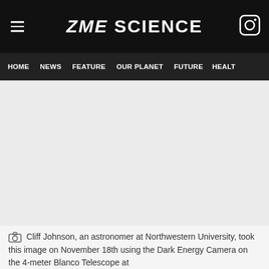ZME SCIENCE
HOME  NEWS  FEATURE  OUR PLANET  FUTURE  HEALT
[Figure (photo): Large image area (blank/light gray placeholder) showing an astronomical photograph taken by Cliff Johnson using the Dark Energy Camera on the 4-meter Blanco Telescope.]
Cliff Johnson, an astronomer at Northwestern University, took this image on November 18th using the Dark Energy Camera on the 4-meter Blanco Telescope at